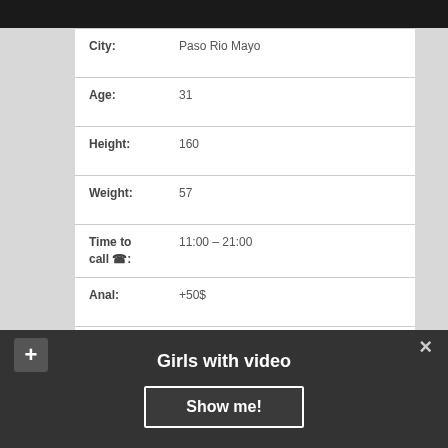[Figure (photo): Partial photo strip at top of page, dark background]
| Field | Value |
| --- | --- |
| City: | Paso Rio Mayo |
| Age: | 31 |
| Height: | 160 |
| Weight: | 57 |
| Time to call ☎: | 11:00 – 21:00 |
| Anal: | +50$ |
| Services: | Strap On, Sauna / Bath Houses, Double penetration |
| Body: | 86-62-85 |
| 1 HOUR: | 80 |
Girls with video
Show me!